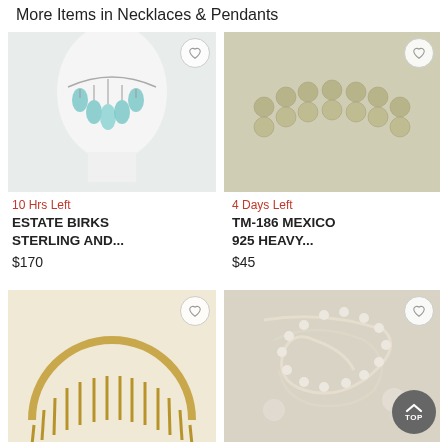More Items in Necklaces & Pendants
[Figure (photo): Turquoise/aqua gemstone drop necklace on white display bust]
10 Hrs Left
ESTATE BIRKS STERLING AND...
$170
[Figure (photo): Double strand gold/silver ball bead necklace on white background]
4 Days Left
TM-186 MEXICO 925 HEAVY...
$45
[Figure (photo): Gold colored graduated fan/collar necklace]
[Figure (photo): Pearl/seed bead multi-strand necklace with earrings on light blue background]